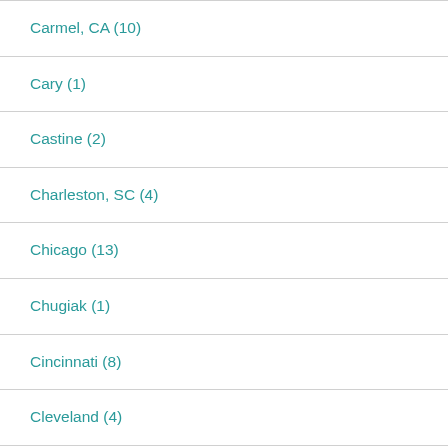Carmel, CA (10)
Cary (1)
Castine (2)
Charleston, SC (4)
Chicago (13)
Chugiak (1)
Cincinnati (8)
Cleveland (4)
Copenhagen (11)
Covington, KY (1)